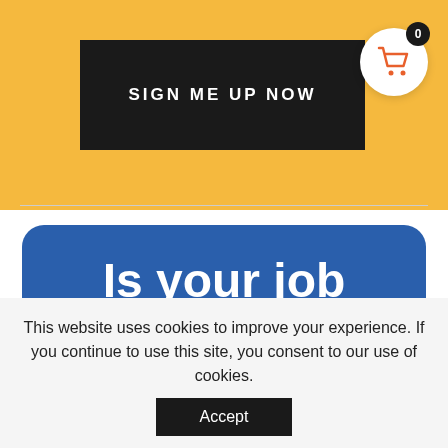[Figure (screenshot): Yellow banner with black 'SIGN ME UP NOW' button and white shopping cart icon with badge showing 0]
Is your job causing you Anxiety?
This website uses cookies to improve your experience. If you continue to use this site, you consent to our use of cookies.
Accept